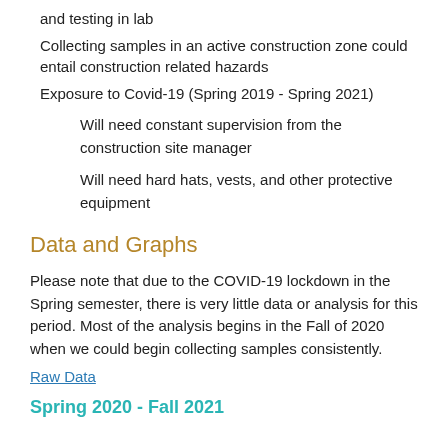and testing in lab
Collecting samples in an active construction zone could entail construction related hazards
Exposure to Covid-19 (Spring 2019 - Spring 2021)
Will need constant supervision from the construction site manager
Will need hard hats, vests, and other protective equipment
Data and Graphs
Please note that due to the COVID-19 lockdown in the Spring semester, there is very little data or analysis for this period. Most of the analysis begins in the Fall of 2020 when we could begin collecting samples consistently.
Raw Data
Spring 2020 - Fall 2021